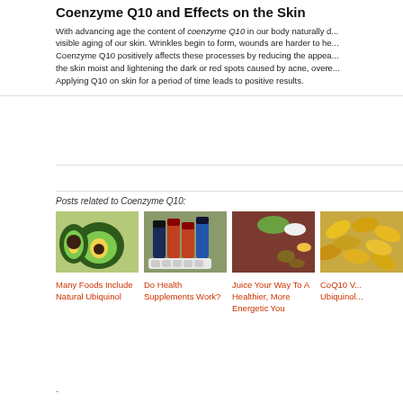Coenzyme Q10 and Effects on the Skin
With advancing age the content of coenzyme Q10 in our body naturally d... visible aging of our skin. Wrinkles begin to form, wounds are harder to he... Coenzyme Q10 positively affects these processes by reducing the appea... the skin moist and lightening the dark or red spots caused by acne, overe... Applying Q10 on skin for a period of time leads to positive results.
Posts related to Coenzyme Q10:
[Figure (photo): Photo of avocado halves on green background]
Many Foods Include Natural Ubiquinol
[Figure (photo): Photo of health supplement bottles and pill organizer]
Do Health Supplements Work?
[Figure (photo): Photo of fresh vegetables and fruits on red background]
Juice Your Way To A Healthier, More Energetic You
[Figure (photo): Photo of CoQ10 supplement capsules]
CoQ10 V... Ubiquinol...
.